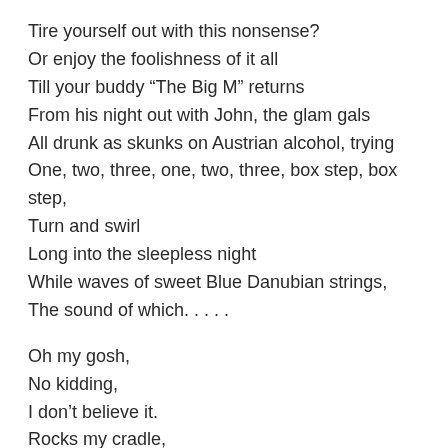Tire yourself out with this nonsense?
Or enjoy the foolishness of it all
Till your buddy “The Big M” returns
From his night out with John, the glam gals
All drunk as skunks on Austrian alcohol, trying
One, two, three, one, two, three, box step, box step,
Turn and swirl
Long into the sleepless night
While waves of sweet Blue Danubian strings,
The sound of which. . . . .

Oh my gosh,
No kidding,
I don’t believe it.
Rocks my cradle,
Calms my woes,
And